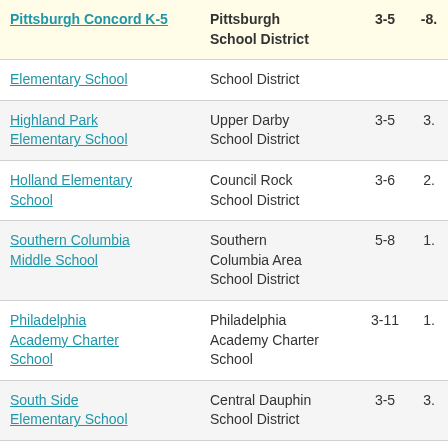| School | District | Grades | Score |
| --- | --- | --- | --- |
| Pittsburgh Concord K-5 | Pittsburgh School District | 3-5 | -8. |
| Elementary School | School District |  |  |
| Highland Park Elementary School | Upper Darby School District | 3-5 | 3. |
| Holland Elementary School | Council Rock School District | 3-6 | 2. |
| Southern Columbia Middle School | Southern Columbia Area School District | 5-8 | 1. |
| Philadelphia Academy Charter School | Philadelphia Academy Charter School | 3-11 | 1. |
| South Side Elementary School | Central Dauphin School District | 3-5 | 3. |
| Peebles Elementary School | North Allegheny School District | 3-5 | 3. |
| (partial) | Eastern Lebanon |  |  |